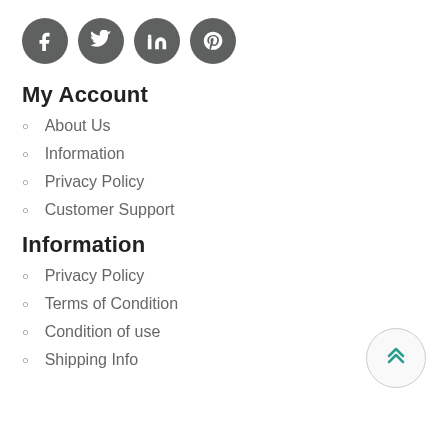[Figure (illustration): Four circular social media icon buttons (Facebook, Twitter, LinkedIn, Pinterest) with dark gray backgrounds and white icons.]
My Account
About Us
Information
Privacy Policy
Customer Support
Information
Privacy Policy
Terms of Condition
Condition of use
Shipping Info